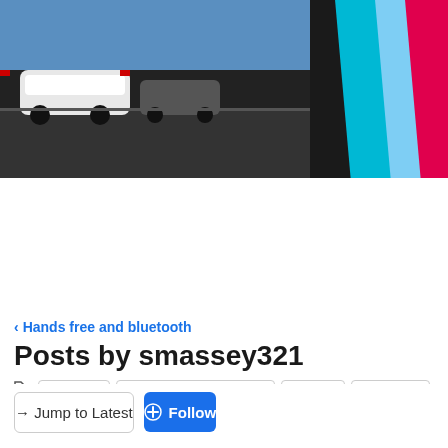[Figure (screenshot): BMW Bimmerfest banner with race cars on track and diagonal colored stripes (teal, blue, red)]
BIMMERFEST
Search Community
< Hands free and bluetooth
Posts by smassey321
bluetooth  bluetooth - phone issues  combox  hands free  handsfree  telematics
→ Jump to Latest
+ Follow
1 - 4 of 4 Posts